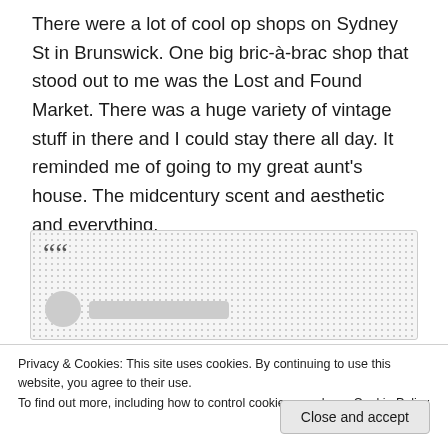There were a lot of cool op shops on Sydney St in Brunswick. One big bric-à-brac shop that stood out to me was the Lost and Found Market. There was a huge variety of vintage stuff in there and I could stay there all day. It reminded me of going to my great aunt's house. The midcentury scent and aesthetic and everything.
[Figure (other): A blockquote box with a large opening quotation mark, dotted/grey background, and at the bottom a circular avatar placeholder and a rectangular name placeholder bar.]
Privacy & Cookies: This site uses cookies. By continuing to use this website, you agree to their use.
To find out more, including how to control cookies, see here: Cookie Policy